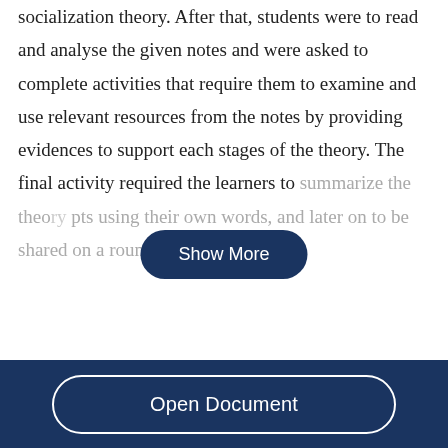socialization theory. After that, students were to read and analyse the given notes and were asked to complete activities that require them to examine and use relevant resources from the notes by providing evidences to support each stages of the theory. The final activity required the learners to summarize the theory… using their own words, and later on to be shared on a round table.…
Show More
Open Document